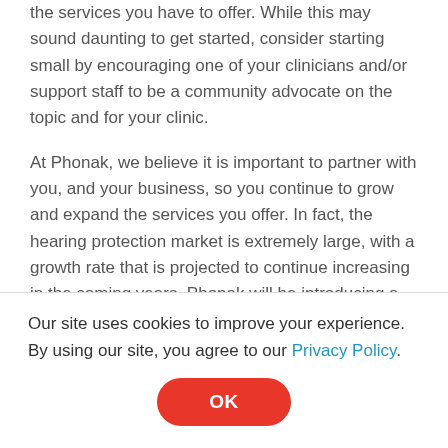the services you have to offer. While this may sound daunting to get started, consider starting small by encouraging one of your clinicians and/or support staff to be a community advocate on the topic and for your clinic.
At Phonak, we believe it is important to partner with you, and your business, so you continue to grow and expand the services you offer. In fact, the hearing protection market is extremely large, with a growth rate that is projected to continue increasing in the coming years. Phonak will be introducing a custom version of Serenity Choice in June 2021, providing you even more selection and
Our site uses cookies to improve your experience. By using our site, you agree to our Privacy Policy.